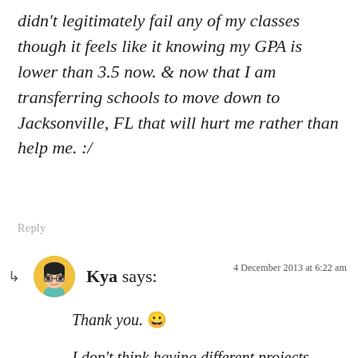didn't legitimately fail any of my classes though it feels like it knowing my GPA is lower than 3.5 now. & now that I am transferring schools to move down to Jacksonville, FL that will hurt me rather than help me. :/
Reply
[Figure (illustration): Avatar of commenter Kya: cartoon face with dark bowl-cut hair, glasses, on a yellow circle background]
Kya says:
4 December 2013 at 6:22 am
Thank you. 😀
I don't think having different projects should be